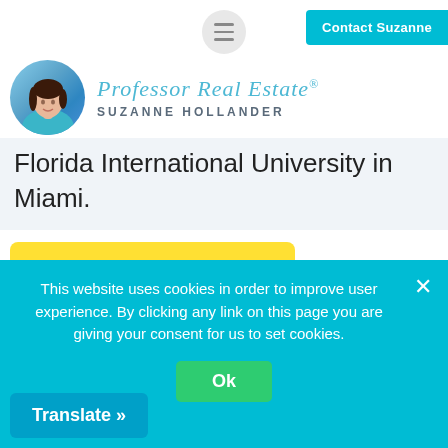Professor Real Estate® SUZANNE HOLLANDER — Contact Suzanne
Florida International University in Miami.
A thorough title search will also likely include details about mortgages attached to the property, street and
This website uses cookies in order to improve user experience. By clicking any link on this page you are giving your consent for us to set cookies.
Ok
Translate »